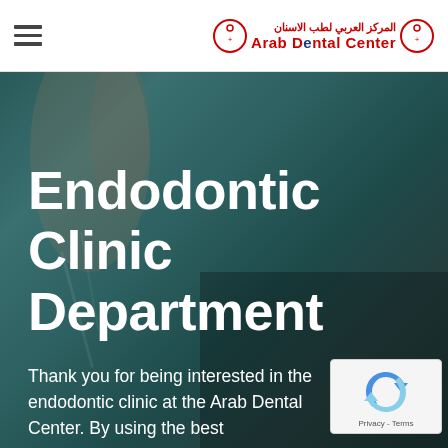Arab Dental Center — المركز العربي لطب الاسنان
Endodontic Clinic Department
Thank you for being interested in the endodontic clinic at the Arab Dental Center. By using the best
[Figure (logo): Arab Dental Center logo with Arabic text and red crescent/circle emblems]